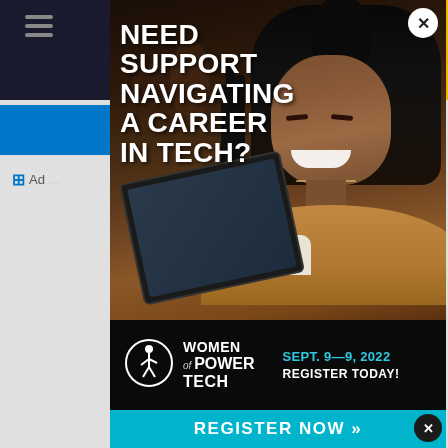[Figure (screenshot): A screenshot of a website showing a modal advertisement popup. The page background shows a dark navy website header with a hamburger menu icon on the left and a yellow tab with a search icon on the right. There are blue bars suggesting navigation elements, partial text 'Ad...' on the left and 'ukle' in yellow on the right. The modal overlays the page with a photo of a smiling Black woman with braids holding a tablet, looking down and smiling. Over the photo in bold white uppercase text reads: NEED SUPPORT NAVIGATING A CAREER IN TECH? A white circle close button (X) appears at the top right of the modal. Below the photo is a black banner with the Women of Power Tech logo (feminine figure in circle) and text 'WOMEN of POWER TECH' alongside event details 'SEPT. 9—9, 2022 REGISTER TODAY!' in cyan/white. At the bottom of the modal is a cyan/teal bar with white bold text 'REGISTER NOW »'. A small dark close button appears at the bottom right of the page.]